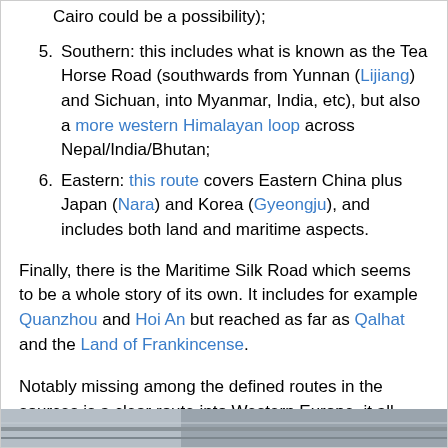5. Southern: this includes what is known as the Tea Horse Road (southwards from Yunnan (Lijiang) and Sichuan, into Myanmar, India, etc), but also a more western Himalayan loop across Nepal/India/Bhutan;
6. Eastern: this route covers Eastern China plus Japan (Nara) and Korea (Gyeongju), and includes both land and maritime aspects.
Finally, there is the Maritime Silk Road which seems to be a whole story of its own. It includes for example Quanzhou and Hoi An but reached as far as Qalhat and the Land of Frankincense.
Notably missing among the defined routes in the sources is a clear route into Western Europe, it all becomes fuzzy after the goods leave Asian Turkey.
[Figure (photo): Bottom strip showing the edge of a photograph, appears to be a landscape or road scene with gray tones.]